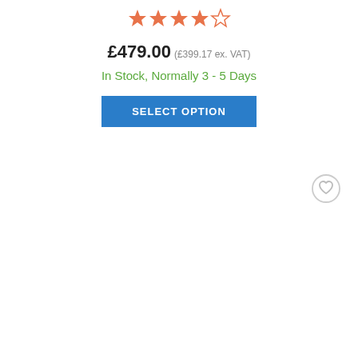[Figure (other): Star rating: 4 out of 5 stars (orange stars)]
£479.00 (£399.17 ex. VAT)
In Stock, Normally 3 - 5 Days
SELECT OPTION
[Figure (other): Wishlist heart icon (circular bordered button, grey)]